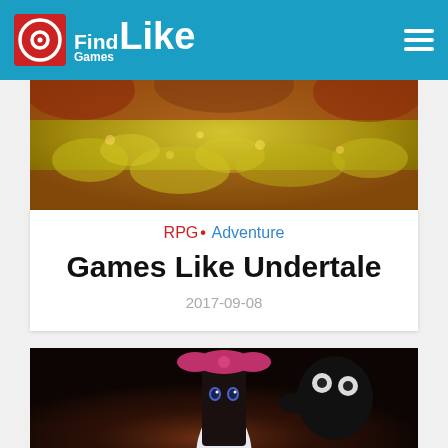FindGamesLike
[Figure (screenshot): Top banner image of Undertale game with yellow-green cloudy/floral background and dark red edges]
RPG• Adventure
Games Like Undertale
2017-09-08
[Figure (screenshot): Anime-style girl character with pink bow and dark hair, wearing a school uniform, with a dark monster creature behind her on a dark background]